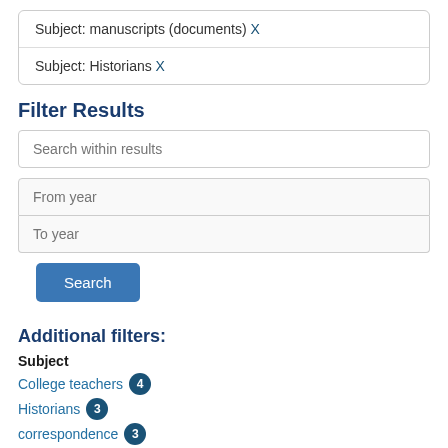Subject: manuscripts (documents) X
Subject: Historians X
Filter Results
Search within results
From year
To year
Search
Additional filters:
Subject
College teachers 4
Historians 3
correspondence 3
Art historians 2